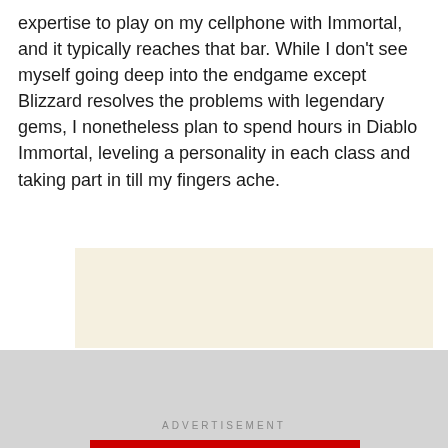expertise to play on my cellphone with Immortal, and it typically reaches that bar. While I don't see myself going deep into the endgame except Blizzard resolves the problems with legendary gems, I nonetheless plan to spend hours in Diablo Immortal, leveling a personality in each class and taking part in till my fingers ache.
[Figure (other): Advertisement placeholder block 1 — beige/cream colored rectangle]
[Figure (other): Advertisement placeholder block 2 — beige/cream colored rectangle]
ADVERTISEMENT